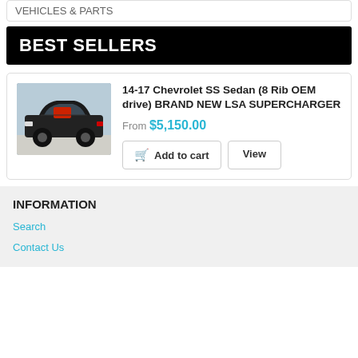VEHICLES & PARTS
BEST SELLERS
[Figure (photo): Black Chevrolet SS Sedan with red supercharger visible, photographed in a parking area]
14-17 Chevrolet SS Sedan (8 Rib OEM drive) BRAND NEW LSA SUPERCHARGER
From $5,150.00
Add to cart | View
INFORMATION
Search
Contact Us